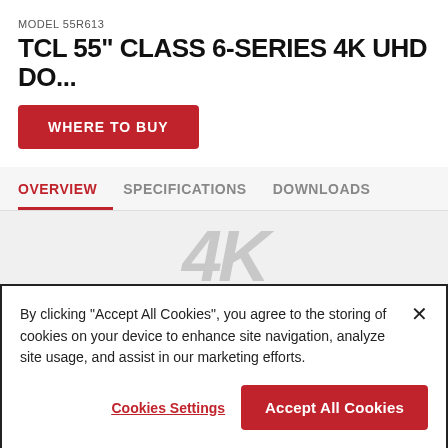MODEL 55R613
TCL 55" CLASS 6-SERIES 4K UHD DO...
WHERE TO BUY
OVERVIEW | SPECIFICATIONS | DOWNLOADS
[Figure (other): Large bold italic '4K' watermark text in gray on a light gray background]
By clicking "Accept All Cookies", you agree to the storing of cookies on your device to enhance site navigation, analyze site usage, and assist in our marketing efforts.
Cookies Settings
Accept All Cookies